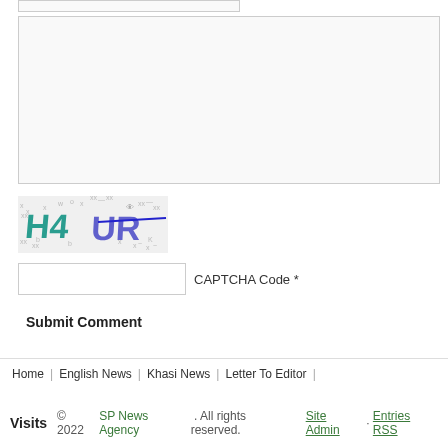[Figure (other): Partial text input box at top of page]
[Figure (other): Large textarea input box for comment]
[Figure (other): CAPTCHA image showing distorted text H4 UR with decorative noise and a blue horizontal line]
[Figure (other): CAPTCHA code text input field with label 'CAPTCHA Code *']
Submit Comment
Home | English News | Khasi News | Letter To Editor |
Visits   © 2022 SP News Agency . All rights reserved.   Site Admin ·   Entries RSS